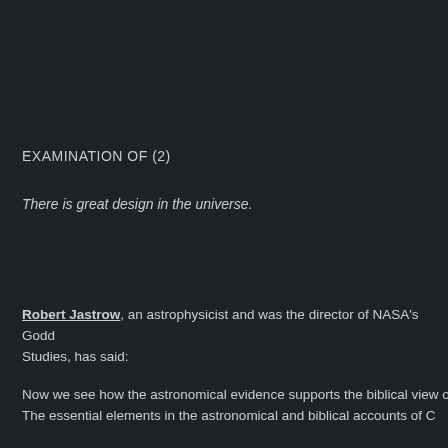EXAMINATION OF (2)
There is great design in the universe.
Robert Jastrow, an astrophysicist and was the director of NASA's Goddard Institute for Space Studies, has said:
Now we see how the astronomical evidence supports the biblical view o... The essential elements in the astronomical and biblical accounts of C...